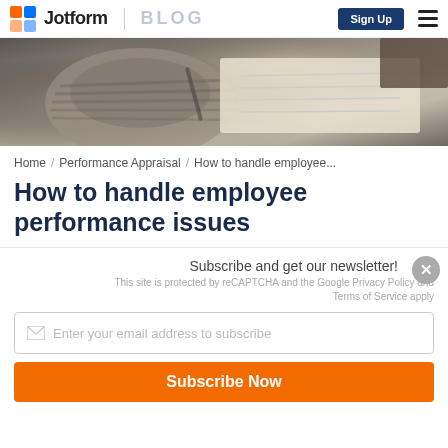Jotform | BLOG   Sign Up
[Figure (photo): Person writing on paper/document, wearing a knitted sweater, close-up shot from above]
Home / Performance Appraisal / How to handle employee...
How to handle employee performance issues
Subscribe and get our newsletter!
This site is protected by reCAPTCHA and the Google Privacy Policy and Terms of Service apply
Enter your email address to subscribe
Subscribe Now